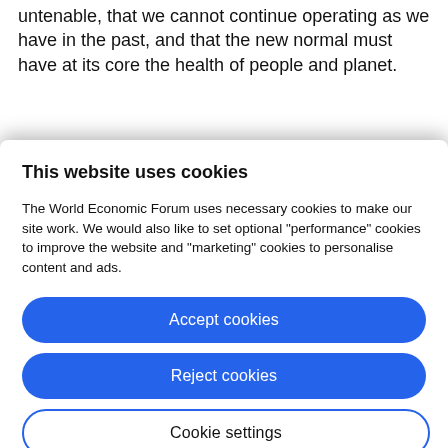untenable, that we cannot continue operating as we have in the past, and that the new normal must have at its core the health of people and planet.
This website uses cookies
The World Economic Forum uses necessary cookies to make our site work. We would also like to set optional "performance" cookies to improve the website and "marketing" cookies to personalise content and ads.
Accept cookies
Reject cookies
Cookie settings